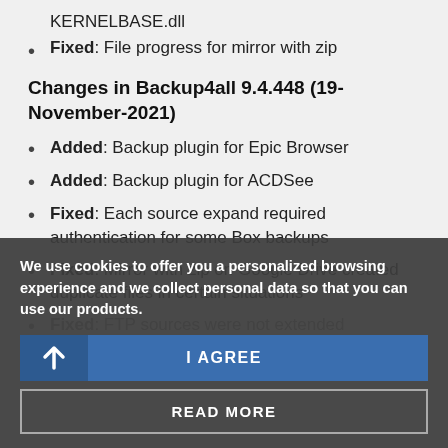Fixed: File progress for mirror with zip
Changes in Backup4all 9.4.448 (19-November-2021)
Added: Backup plugin for Epic Browser
Added: Backup plugin for ACDSee
Fixed: Each source expand required authentication for some Box backups
Fixed: Mirror with zip on Google Drive created duplicate files in certain situations
Fixed: FTP sources were not extended
We use cookies to offer you a personalized browsing experience and we collect personal data so that you can use our products.
I AGREE
READ MORE